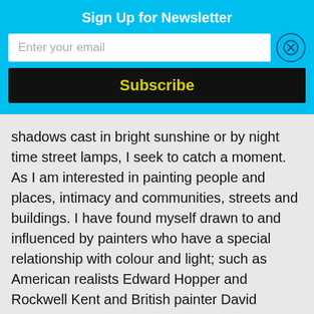Sign Up for Newsletter
Enter your email
Subscribe
shadows cast in bright sunshine or by night time street lamps, I seek to catch a moment. As I am interested in painting people and places, intimacy and communities, streets and buildings. I have found myself drawn to and influenced by painters who have a special relationship with colour and light; such as American realists Edward Hopper and Rockwell Kent and British painter David Hockney. I am also drawn to the skies and landscapes of Irish artists such as Paul Henry, and James Hubert Craig.
[Figure (infographic): Bottom navigation bar with user/person icon, search icon, and shopping cart icon with badge showing '0']